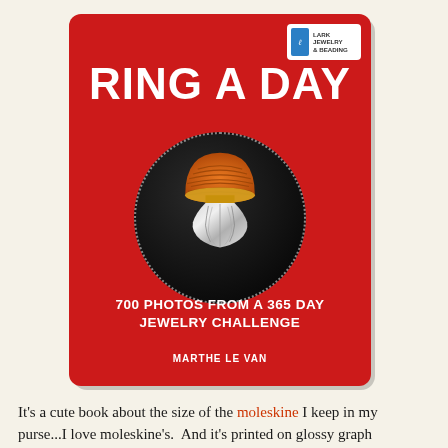[Figure (photo): Book cover of 'Ring A Day' — a red book with rounded corners featuring the title 'RING A DAY' in large white bold text, a circular black inset showing an orange dome ring with silver wrapping, subtitle '700 PHOTOS FROM A 365 DAY JEWELRY CHALLENGE', author 'MARTHE LE VAN', and Lark Jewelry & Beading logo in upper right corner.]
It's a cute book about the size of the moleskine I keep in my purse...I love moleskine's.  And it's printed on glossy graph paper.....I love graph paper.  I know....I'm a nerd.  When I